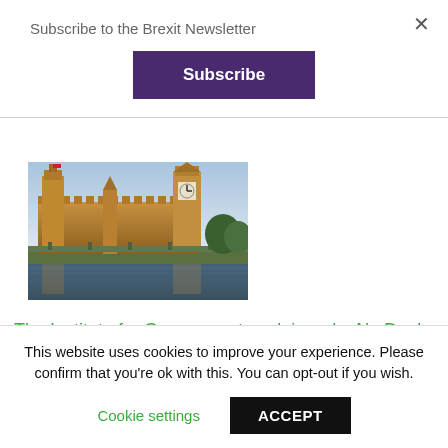Subscribe to the Brexit Newsletter
Subscribe
[Figure (photo): Photo of the Houses of Parliament / Palace of Westminster with Big Ben, illuminated at dusk, viewed from across the Thames river with Westminster Bridge visible.]
The Institute for Government explains why No Deal is harder to stop this time
August 12, 2019
This website uses cookies to improve your experience. Please confirm that you're ok with this. You can opt-out if you wish.
Cookie settings
ACCEPT